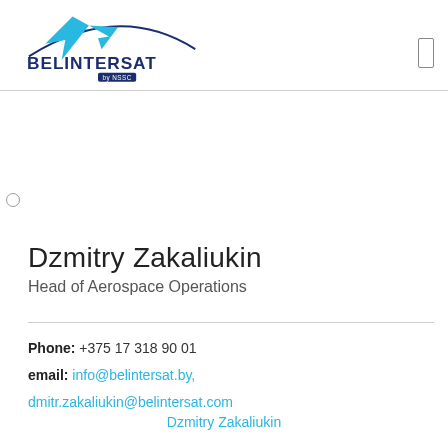[Figure (logo): Belintersat by NSSC company logo with satellite dish graphic and blue/dark blue text]
Dzmitry Zakaliukin
Head of Aerospace Operations
Phone: +375 17 318 90 01
email: info@belintersat.by, dmitr.zakaliukin@belintersat.com
Dzmitry Zakaliukin